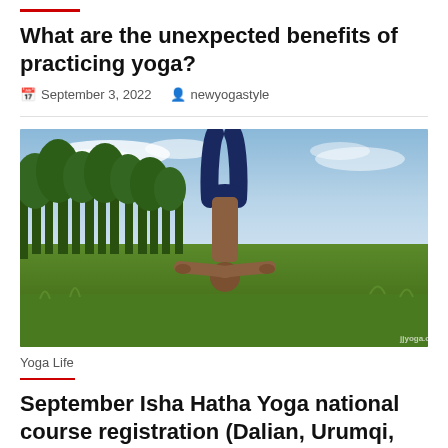What are the unexpected benefits of practicing yoga?
September 3, 2022   newyogastyle
[Figure (photo): A person performing a handstand outdoors on a grassy field with tall trees in the background and a blue sky with white clouds. Watermark reads jjyoga.com.]
Yoga Life
September Isha Hatha Yoga national course registration (Dalian, Urumqi,